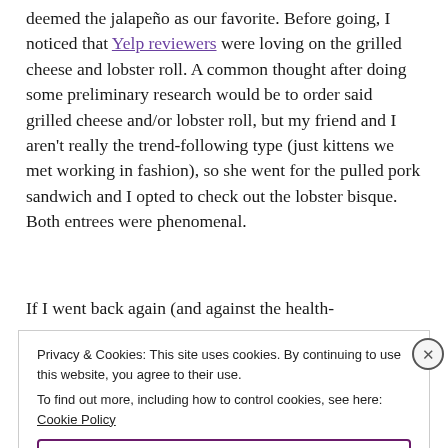deemed the jalapeño as our favorite. Before going, I noticed that Yelp reviewers were loving on the grilled cheese and lobster roll. A common thought after doing some preliminary research would be to order said grilled cheese and/or lobster roll, but my friend and I aren't really the trend-following type (just kittens we met working in fashion), so she went for the pulled pork sandwich and I opted to check out the lobster bisque. Both entrees were phenomenal.
If I went back again (and against the health-
Privacy & Cookies: This site uses cookies. By continuing to use this website, you agree to their use.
To find out more, including how to control cookies, see here: Cookie Policy
Close and accept